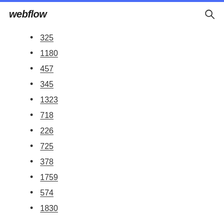webflow
325
1180
457
345
1323
718
226
725
378
1759
574
1830